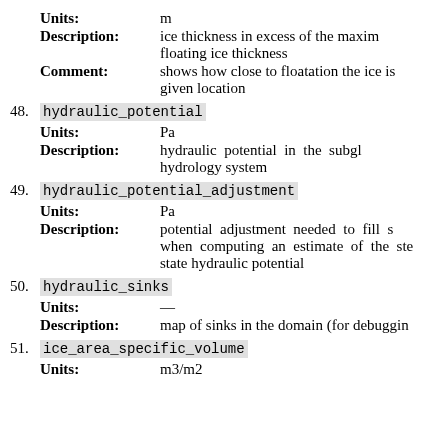Units: m
Description: ice thickness in excess of the maximum floating ice thickness
Comment: shows how close to floatation the ice is at a given location
48. hydraulic_potential
Units: Pa
Description: hydraulic potential in the subglacial hydrology system
49. hydraulic_potential_adjustment
Units: Pa
Description: potential adjustment needed to fill sinks when computing an estimate of the steady-state hydraulic potential
50. hydraulic_sinks
Units: —
Description: map of sinks in the domain (for debugging)
51. ice_area_specific_volume
Units: m3/m2